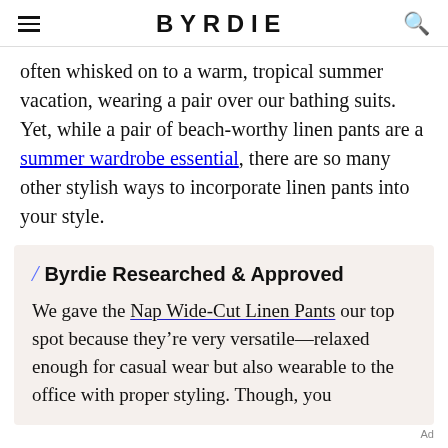BYRDIE
often whisked on to a warm, tropical summer vacation, wearing a pair over our bathing suits. Yet, while a pair of beach-worthy linen pants are a summer wardrobe essential, there are so many other stylish ways to incorporate linen pants into your style.
/ Byrdie Researched & Approved
We gave the Nap Wide-Cut Linen Pants our top spot because they're very versatile—relaxed enough for casual wear but also wearable to the office with proper styling. Though, you
Ad